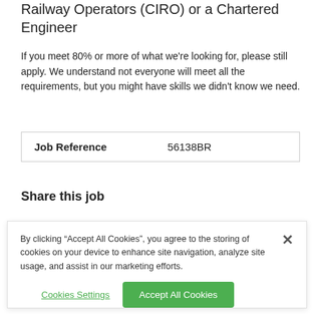Railway Operators (CIRO) or a Chartered Engineer
If you meet 80% or more of what we're looking for, please still apply. We understand not everyone will meet all the requirements, but you might have skills we didn't know we need.
| Job Reference | 56138BR |
| --- | --- |
Share this job
By clicking “Accept All Cookies”, you agree to the storing of cookies on your device to enhance site navigation, analyze site usage, and assist in our marketing efforts.
Cookies Settings  Accept All Cookies